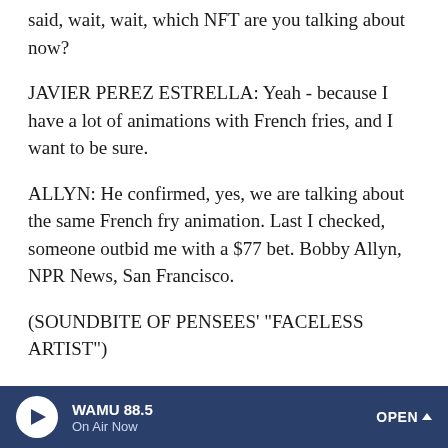said, wait, wait, which NFT are you talking about now?
JAVIER PEREZ ESTRELLA: Yeah - because I have a lot of animations with French fries, and I want to be sure.
ALLYN: He confirmed, yes, we are talking about the same French fry animation. Last I checked, someone outbid me with a $77 bet. Bobby Allyn, NPR News, San Francisco.
(SOUNDBITE OF PENSEES' "FACELESS ARTIST")
Copyright © 2021 NPR. All rights reserved. Visit our website terms of use and permissions pages at www.npr.org for further information.
NPR transcripts are created on a rush deadline by an NPR contractor. This text may not be in its final form and may be updated or revised in the future. Accuracy and availability may vary. The authoritative record of NPR's programming is the audio
WAMU 88.5 On Air Now OPEN